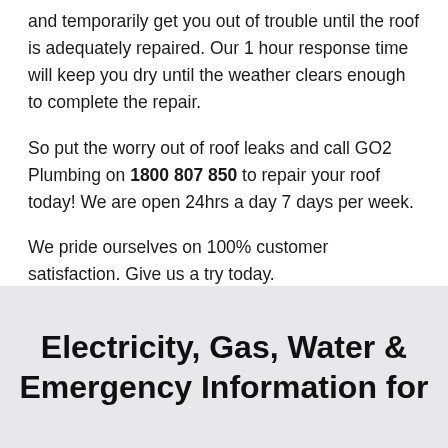and temporarily get you out of trouble until the roof is adequately repaired. Our 1 hour response time will keep you dry until the weather clears enough to complete the repair.
So put the worry out of roof leaks and call GO2 Plumbing on 1800 807 850 to repair your roof today! We are open 24hrs a day 7 days per week.
We pride ourselves on 100% customer satisfaction. Give us a try today.
Electricity, Gas, Water & Emergency Information for